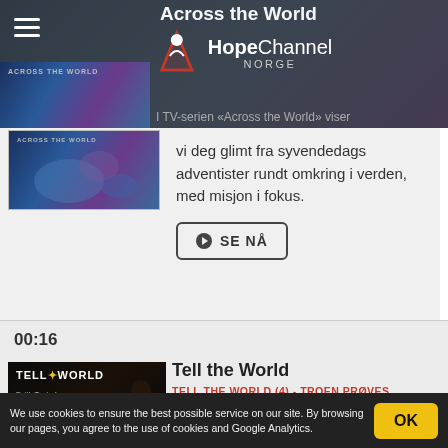[Figure (screenshot): Top dark header with HopeChannel Norge logo, hamburger menu, and 'Across the World' title with thumbnail]
Across the World
I TV-serien «Across the World» viser vi deg glimt fra syvendedags adventister rundt omkring i verden, med misjon i fokus.
SE NÅ
00:16
[Figure (screenshot): Tell the World - Faith Tested Episode 4 thumbnail showing a person in low light]
Tell the World
TELL THE WORLD (4) - TROEN PRØVES
Korrekt utregning, men feil tolkning. Det endte med sorg, smerte og motløshet. Slik begynner fortellingen om Syvendedags
We use cookies to ensure the best possible service on our site. By browsing our pages, you agree to the use of cookies and Google Analytics.